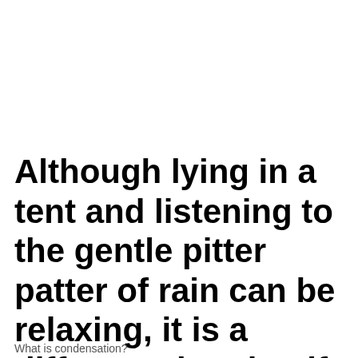Although lying in a tent and listening to the gentle pitter patter of rain can be relaxing, it is a different situation if condensation infiltrates inside the tent.
What is condensation?